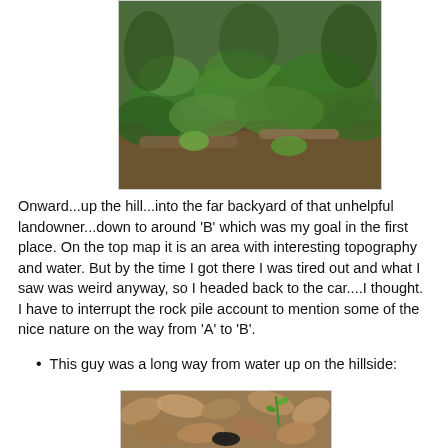[Figure (photo): Forest floor photo showing green leafy plants and undergrowth on a hillside with fallen logs and leaf litter]
Onward...up the hill...into the far backyard of that unhelpful landowner...down to around 'B' which was my goal in the first place. On the top map it is an area with interesting topography and water. But by the time I got there I was tired out and what I saw was weird anyway, so I headed back to the car....I thought.
I have to interrupt the rock pile account to mention some of the nice nature on the way from 'A' to 'B'.
This guy was a long way from water up on the hillside:
[Figure (photo): Close-up photo of dry brown fallen leaves covering the ground with a small green plant shoot emerging, and what appears to be a dark amphibian or insect visible among the leaves]